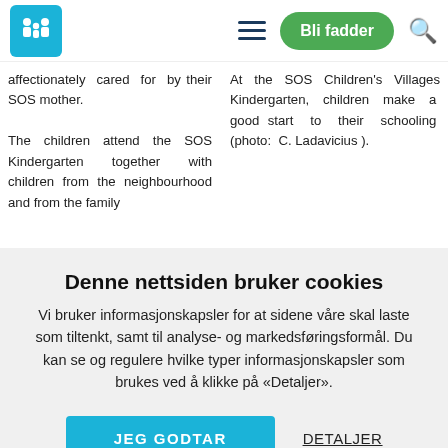Bli fadder
affectionately cared for by their SOS mother.

The children attend the SOS Kindergarten together with children from the neighbourhood and from the family
At the SOS Children's Villages Kindergarten, children make a good start to their schooling (photo: C. Ladavicius ).
Denne nettsiden bruker cookies
Vi bruker informasjonskapsler for at sidene våre skal laste som tiltenkt, samt til analyse- og markedsføringsformål. Du kan se og regulere hvilke typer informasjonskapsler som brukes ved å klikke på «Detaljer».
JEG GODTAR
DETALJER